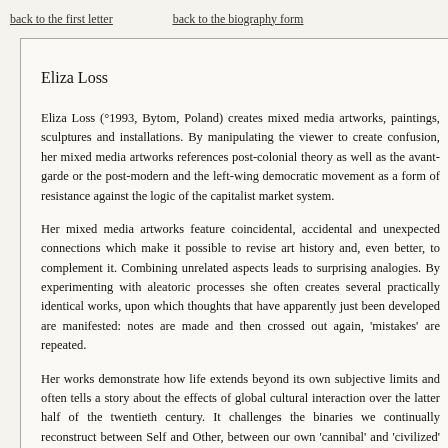back to the first letter    back to the biography form
Eliza Loss
Eliza Loss (°1993, Bytom, Poland) creates mixed media artworks, paintings, sculptures and installations. By manipulating the viewer to create confusion, her mixed media artworks references post-colonial theory as well as the avant-garde or the post-modern and the left-wing democratic movement as a form of resistance against the logic of the capitalist market system.
Her mixed media artworks feature coincidental, accidental and unexpected connections which make it possible to revise art history and, even better, to complement it. Combining unrelated aspects leads to surprising analogies. By experimenting with aleatoric processes she often creates several practically identical works, upon which thoughts that have apparently just been developed are manifested: notes are made and then crossed out again, 'mistakes' are repeated.
Her works demonstrate how life extends beyond its own subjective limits and often tells a story about the effects of global cultural interaction over the latter half of the twentieth century. It challenges the binaries we continually reconstruct between Self and Other, between our own 'cannibal' and 'civilized' selves. By demons...